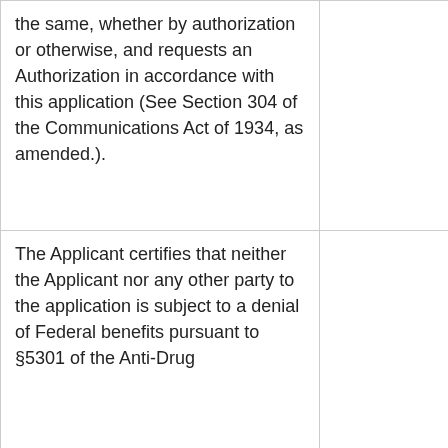| the same, whether by authorization or otherwise, and requests an Authorization in accordance with this application (See Section 304 of the Communications Act of 1934, as amended.). |  |
| The Applicant certifies that neither the Applicant nor any other party to the application is subject to a denial of Federal benefits pursuant to §5301 of the Anti-Drug |  |